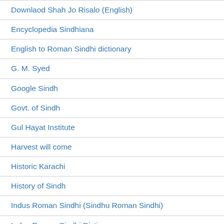Downlaod Shah Jo Risalo (English)
Encyclopedia Sindhiana
English to Roman Sindhi dictionary
G. M. Syed
Google Sindh
Govt. of Sindh
Gul Hayat Institute
Harvest will come
Historic Karachi
History of Sindh
Indus Roman Sindhi (Sindhu Roman Sindhi)
Indus Roman Sindhi Dictionary